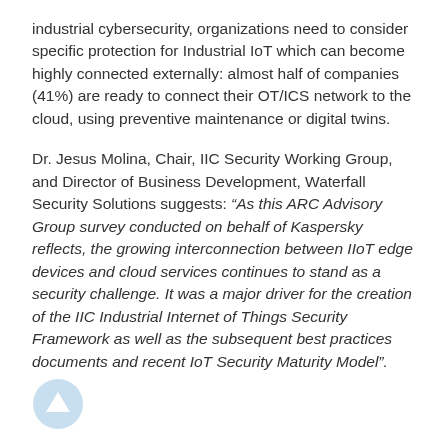industrial cybersecurity, organizations need to consider specific protection for Industrial IoT which can become highly connected externally: almost half of companies (41%) are ready to connect their OT/ICS network to the cloud, using preventive maintenance or digital twins.
Dr. Jesus Molina, Chair, IIC Security Working Group, and Director of Business Development, Waterfall Security Solutions suggests: “As this ARC Advisory Group survey conducted on behalf of Kaspersky reflects, the growing interconnection between IIoT edge devices and cloud services continues to stand as a security challenge. It was a major driver for the creation of the IIC Industrial Internet of Things Security Framework as well as the subsequent best practices documents and recent IoT Security Maturity Model”.